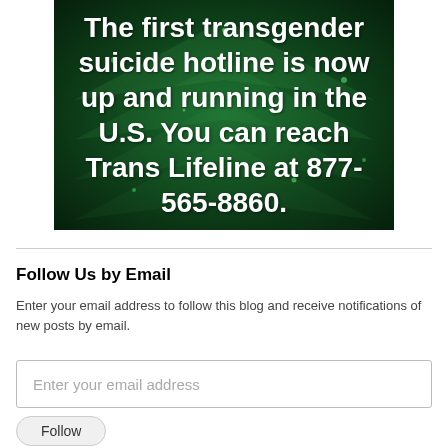[Figure (photo): Dark green background with chevron/arrow pattern, white bold text reading: The first transgender suicide hotline is now up and running in the U.S. You can reach Trans Lifeline at 877-565-8860.]
Follow Us by Email
Enter your email address to follow this blog and receive notifications of new posts by email.